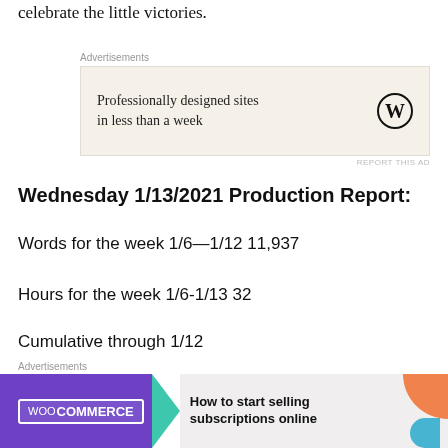celebrate the little victories.
[Figure (other): WordPress advertisement: 'Professionally designed sites in less than a week' with WordPress logo]
Wednesday 1/13/2021 Production Report:
Words for the week 1/6—1/12 11,937
Hours for the week 1/6-1/13 32
Cumulative through 1/12
Words – 24,099
Hours – 67
[Figure (other): WooCommerce advertisement: 'How to start selling subscriptions online']